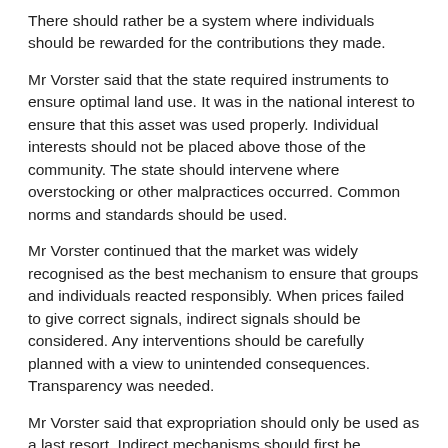There should rather be a system where individuals should be rewarded for the contributions they made.
Mr Vorster said that the state required instruments to ensure optimal land use. It was in the national interest to ensure that this asset was used properly. Individual interests should not be placed above those of the community. The state should intervene where overstocking or other malpractices occurred. Common norms and standards should be used.
Mr Vorster continued that the market was widely recognised as the best mechanism to ensure that groups and individuals reacted responsibly. When prices failed to give correct signals, indirect signals should be considered. Any interventions should be carefully planned with a view to unintended consequences. Transparency was needed.
Mr Vorster said that expropriation should only be used as a last resort. Indirect mechanisms should first be considered before direct interventions were made. Corruption and bribery could result, and this was already evident in the South African context.
Mr Vorster said that the above perspectives would contribute